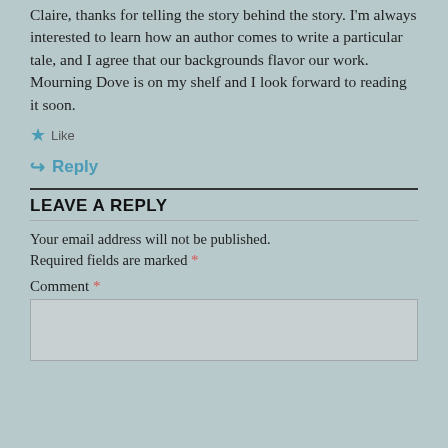Claire, thanks for telling the story behind the story. I'm always interested to learn how an author comes to write a particular tale, and I agree that our backgrounds flavor our work. Mourning Dove is on my shelf and I look forward to reading it soon.
★ Like
↪ Reply
LEAVE A REPLY
Your email address will not be published. Required fields are marked *
Comment *